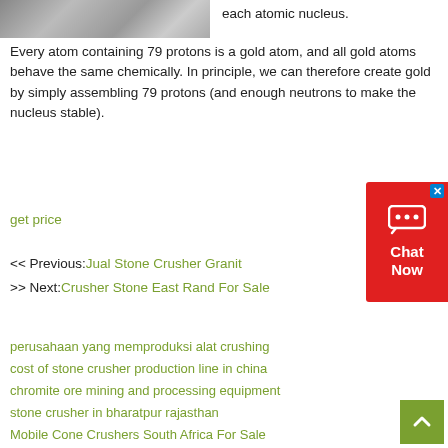[Figure (photo): Partial image of rocky/mineral surface visible at top left]
each atomic nucleus.
Every atom containing 79 protons is a gold atom, and all gold atoms behave the same chemically. In principle, we can therefore create gold by simply assembling 79 protons (and enough neutrons to make the nucleus stable).
get price
<< Previous: Jual Stone Crusher Granit
>> Next: Crusher Stone East Rand For Sale
perusahaan yang memproduksi alat crushing
cost of stone crusher production line in china
chromite ore mining and processing equipment
stone crusher in bharatpur rajasthan
Mobile Cone Crushers South Africa For Sale
Utilisation De Dolomite
mobile crusher 200 tp 2fh photos
secondhand cement grinding ball mill in india
bodknife grinding products